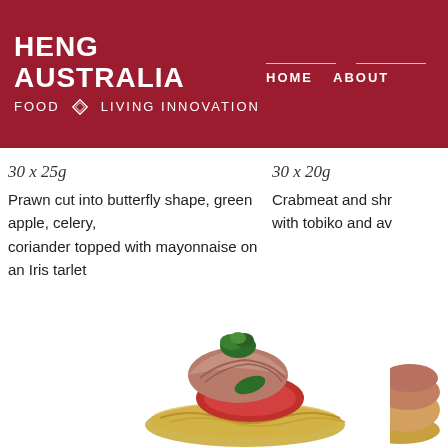HENG AUSTRALIA FOOD & LIVING INNOVATION | HOME | ABOUT
30 x 25g
Prawn cut into butterfly shape, green apple, celery, coriander topped with mayonnaise on an Iris tarlet
30 x 20g
Crabmeat and shr... with tobiko and av...
[Figure (photo): Food photo: a rolled meat canape on a base with tomato and garnish]
[Figure (photo): Food photo: partially visible canape on the right edge]